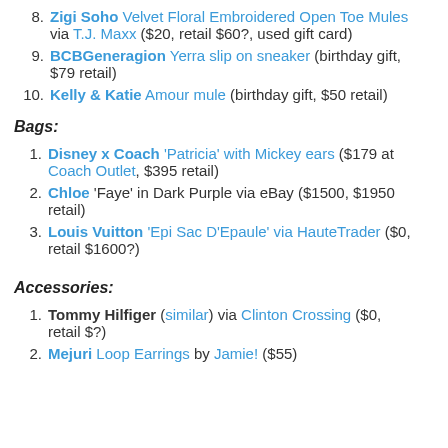8. Zigi Soho Velvet Floral Embroidered Open Toe Mules via T.J. Maxx ($20, retail $60?, used gift card)
9. BCBGeneragion Yerra slip on sneaker (birthday gift, $79 retail)
10. Kelly & Katie Amour mule (birthday gift, $50 retail)
Bags:
1. Disney x Coach 'Patricia' with Mickey ears ($179 at Coach Outlet, $395 retail)
2. Chloe 'Faye' in Dark Purple via eBay ($1500, $1950 retail)
3. Louis Vuitton 'Epi Sac D'Epaule' via HauteTrader ($0, retail $1600?)
Accessories:
1. Tommy Hilfiger (similar) via Clinton Crossing ($0, retail $?)
2. Mejuri Loop Earrings by Jamie! ($55)